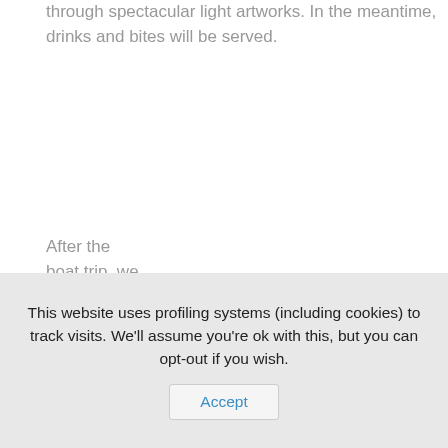through spectacular light artworks. In the meantime, drinks and bites will be served.
After the boat trip, we will have dinner
This website uses profiling systems (including cookies) to track visits. We'll assume you're ok with this, but you can opt-out if you wish.  Accept